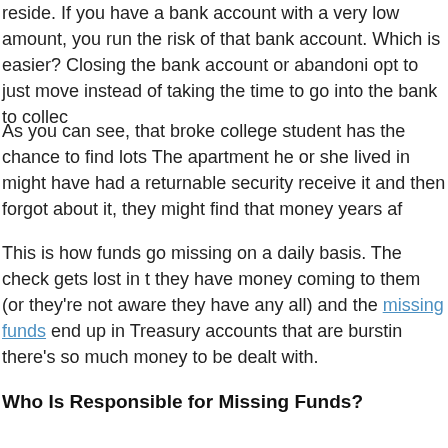eside. If you have a bank account with a very low amount, you run the risk of that bank account. Which is easier? Closing the bank account or abandoning it? Many opt to just move instead of taking the time to go into the bank to collect a small amount.
As you can see, that broke college student has the chance to find lots of money. The apartment he or she lived in might have had a returnable security deposit. If they didn't receive it and then forgot about it, they might find that money years after the fact.
This is how funds go missing on a daily basis. The check gets lost in the mail and they have money coming to them (or they're not aware they have any money coming at all) and the missing funds end up in Treasury accounts that are bursting at the seams because there's so much money to be dealt with.
Who Is Responsible for Missing Funds?
The person who lost the money to begin with is responsible for the missing funds across the country. You never know if you might have money lost or missing somewhere. Search for missing funds now that you know how funds go missing and you could become a little wealthier.
Tags: how funds go missing, missing funds